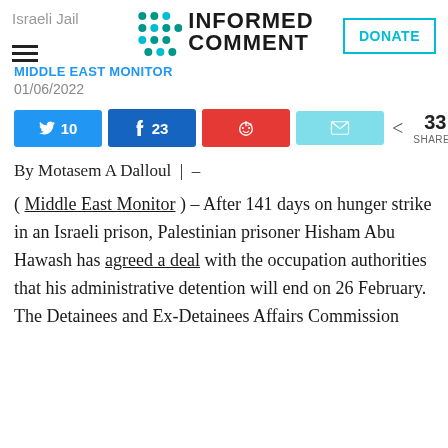Israeli Jail — Informed Comment
MIDDLE EAST MONITOR
01/06/2022
Twitter 10, Facebook 23, Reddit, Email — 33 SHARES
By Motasem A Dalloul | –
( Middle East Monitor ) – After 141 days on hunger strike in an Israeli prison, Palestinian prisoner Hisham Abu Hawash has agreed a deal with the occupation authorities that his administrative detention will end on 26 February. The Detainees and Ex-Detainees Affairs Commission